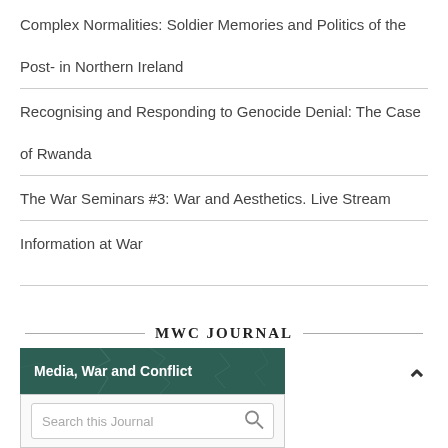Complex Normalities: Soldier Memories and Politics of the Post- in Northern Ireland
Recognising and Responding to Genocide Denial: The Case of Rwanda
The War Seminars #3: War and Aesthetics. Live Stream
Information at War
MWC JOURNAL
[Figure (screenshot): Journal cover image for Media, War and Conflict with dark teal header and a search box below it.]